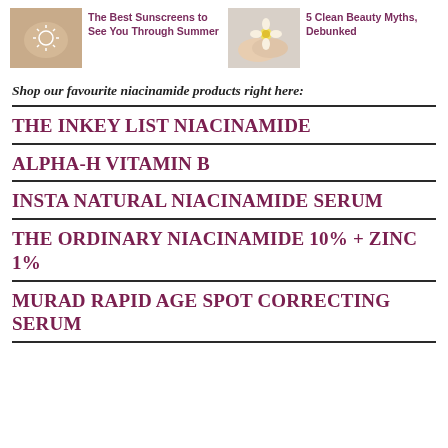[Figure (photo): Thumbnail image of a person's back with sunscreen/sun symbol, for article 'The Best Sunscreens to See You Through Summer']
The Best Sunscreens to See You Through Summer
[Figure (photo): Thumbnail image of hands holding a flower, for article '5 Clean Beauty Myths, Debunked']
5 Clean Beauty Myths, Debunked
Shop our favourite niacinamide products right here:
THE INKEY LIST NIACINAMIDE
ALPHA-H VITAMIN B
INSTA NATURAL NIACINAMIDE SERUM
THE ORDINARY NIACINAMIDE 10% + ZINC 1%
MURAD RAPID AGE SPOT CORRECTING SERUM